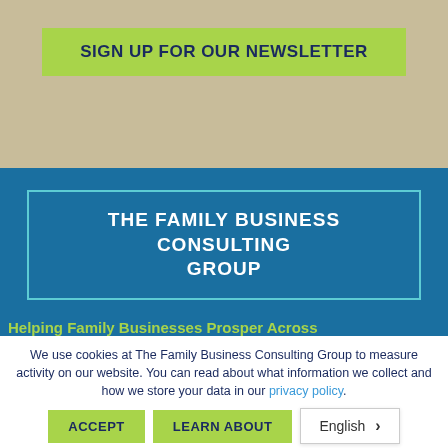SIGN UP FOR OUR NEWSLETTER
THE FAMILY BUSINESS CONSULTING GROUP
Helping Family Businesses Prosper Across
We use cookies at The Family Business Consulting Group to measure activity on our website. You can read about what information we collect and how we store your data in our privacy policy.
ACCEPT
LEARN ABOUT
English >